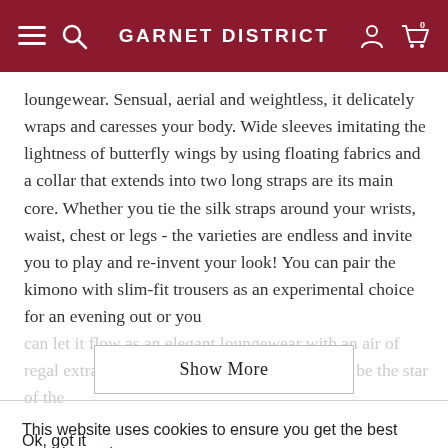GARNET DISTRICT
loungewear. Sensual, aerial and weightless, it delicately wraps and caresses your body. Wide sleeves imitating the lightness of butterfly wings by using floating fabrics and a collar that extends into two long straps are its main core. Whether you tie the silk straps around your wrists, waist, chest or legs - the varieties are endless and invite you to play and re-invent your look! You can pair the kimono with slim-fit trousers as an experimental choice for an evening out or you can let it flow as an elegant loungewear with an air of regal extravagance. Either way, you are sure to be the star of the
Show More
This website uses cookies to ensure you get the best experience. Learn more
Ok, got it